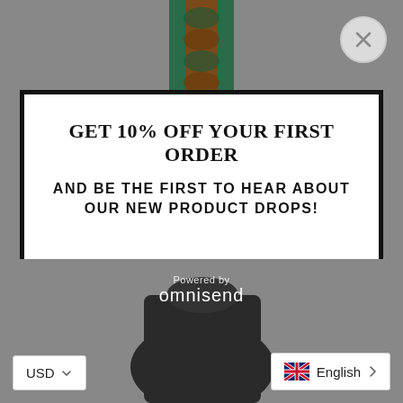[Figure (screenshot): E-commerce website background showing a braided leather strap product on a grey background]
GET 10% OFF YOUR FIRST ORDER
AND BE THE FIRST TO HEAR ABOUT OUR NEW PRODUCT DROPS!
ENTER YOUR EMAIL
GET 10% OFF
Powered by omnisend
USD
English